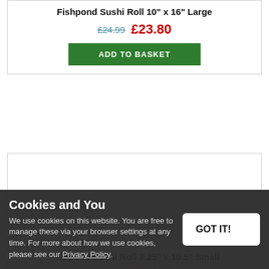Fishpond Sushi Roll 10" x 16" Large
£24.99  £23.80
ADD TO BASKET
[Figure (other): Product image area for Fishpond Sushi Roll 7.25" x 10.5" Small (white/blank)]
Fishpond Sushi Roll 7.25" x 10.5" Small
£24.99  £23.80
ADD TO BASKET
Cookies and You
We use cookies on this website. You are free to manage these via your browser settings at any time. For more about how we use cookies, please see our Privacy Policy.
GOT IT!